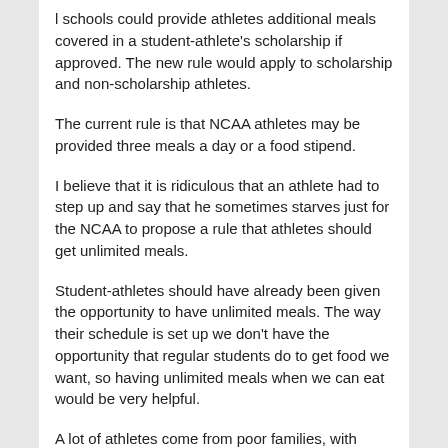l schools could provide athletes additional meals covered in a student-athlete's scholarship if approved. The new rule would apply to scholarship and non-scholarship athletes.
The current rule is that NCAA athletes may be provided three meals a day or a food stipend.
I believe that it is ridiculous that an athlete had to step up and say that he sometimes starves just for the NCAA to propose a rule that athletes should get unlimited meals.
Student-athletes should have already been given the opportunity to have unlimited meals. The way their schedule is set up we don't have the opportunity that regular students do to get food we want, so having unlimited meals when we can eat would be very helpful.
A lot of athletes come from poor families, with them being the only person in the family that has been to college. When the athlete runs out of the monthly food revenue,